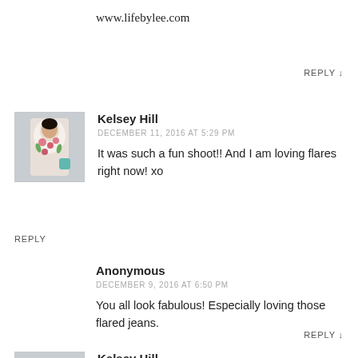www.lifebylee.com
REPLY ↓
Kelsey Hill
DECEMBER 11, 2016 AT 5:29 PM
[Figure (photo): Avatar photo of Kelsey Hill in a floral outfit]
It was such a fun shoot!! And I am loving flares right now! xo
REPLY
Anonymous
DECEMBER 9, 2016 AT 6:50 PM
You all look fabulous! Especially loving those flared jeans.
REPLY ↓
Kelsey Hill
DECEMBER 11, 2016 AT 5:30 PM
[Figure (photo): Avatar photo of Kelsey Hill in a floral outfit]